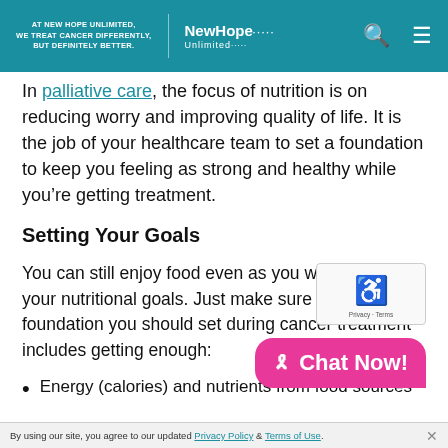AT NEW HOPE UNLIMITED, WE TREAT CANCER DIFFERENTLY, BUT DEFINITELY BETTER. | New Hope Unlimited
In palliative care, the focus of nutrition is on reducing worry and improving quality of life. It is the job of your healthcare team to set a foundation to keep you feeling as strong and healthy while you’re getting treatment.
Setting Your Goals
You can still enjoy food even as you work toward your nutritional goals. Just make sure the foundation you should set during cancer treatment includes getting enough:
Energy (calories) and nutrients from food sources
By using our site, you agree to our updated Privacy Policy & Terms of Use.